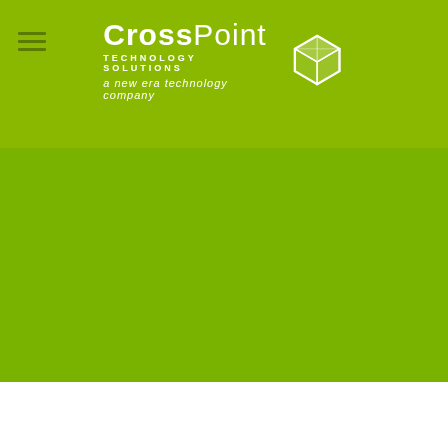[Figure (logo): CrossPoint Technology Solutions logo - a new era technology company, with cube icon, on green header bar]
[Figure (other): Large olive/yellow-green solid color block filling the main content area]